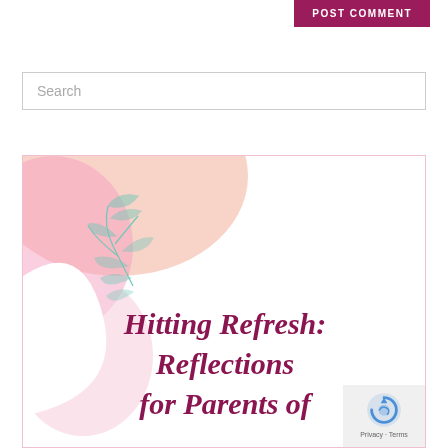POST COMMENT
Search
[Figure (illustration): Book cover or blog post thumbnail image with pink and peach abstract blob shapes in top-left corner, a teal leaf/branch illustration, and bold dark red italic text reading: Hitting Refresh: Reflections for Parents of]
[Figure (logo): Google reCAPTCHA badge with Privacy Terms text in bottom right corner]